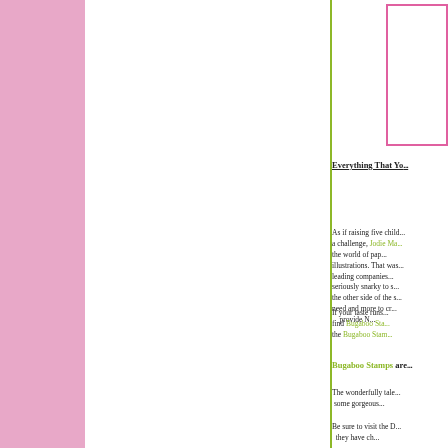[Figure (other): Pink sidebar on left, white column, green vertical divider line, white right content area with pink outlined box in top right corner]
Everything That Yo...
As if raising five child... a challenge, Jodie Ma... the world of pap... illustrations. That was... leading companies... seriously snarky to s... the other side of the s... need and more to cr... provide N...
If your taste runs... find Bugaboo Sta... the Bugaboo Stam...
Bugaboo Stamps are...
The wonderfully tale... some gorgeous...
Be sure to visit the D... they have ch...